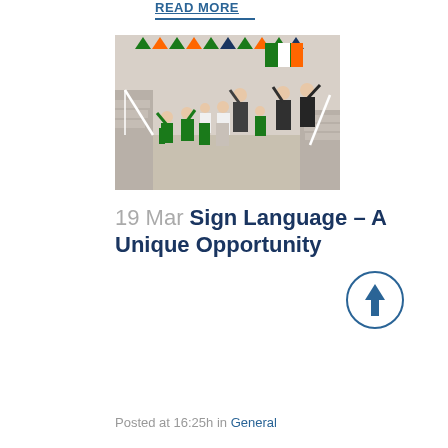READ MORE
[Figure (photo): Group of children dressed in green St. Patrick's Day costumes and older students in school uniforms, dancing or posing with arms raised in a school hall decorated with Irish tricolour bunting and flag.]
19 Mar Sign Language – A Unique Opportunity
Posted at 16:25h in General